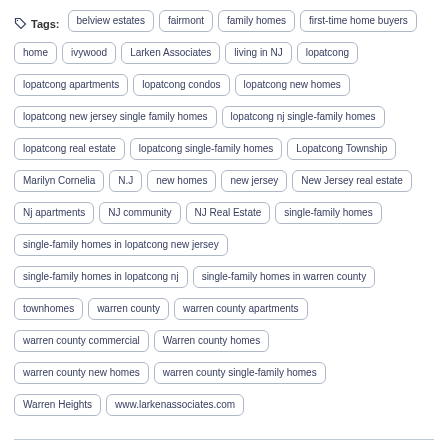Tags: belview estates, fairmont, family homes, first-time home buyers, home, ivywood, Larken Associates, living in NJ, lopatcong, lopatcong apartments, lopatcong condos, lopatcong new homes, lopatcong new jersey single family homes, lopatcong nj single-family homes, lopatcong real estate, lopatcong single-family homes, Lopatcong Township, Marilyn Cornelia, N.J, new homes, new jersey, New Jersey real estate, Nj apartments, NJ community, NJ Real Estate, single-family homes, single-family homes in lopatcong new jersey, single-family homes in lopatcong nj, single-family homes in warren county, townhomes, warren county, warren county apartments, warren county commercial, Warren county homes, warren county new homes, warren county single-family homes, Warren Heights, www.larkenassociates.com